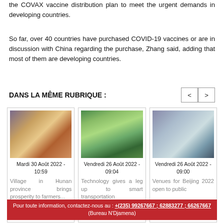the COVAX vaccine distribution plan to meet the urgent demands in developing countries.
So far, over 40 countries have purchased COVID-19 vaccines or are in discussion with China regarding the purchase, Zhang said, adding that most of them are developing countries.
DANS LA MÊME RUBRIQUE :
[Figure (photo): People working together, possibly at a table with colorful materials, Hunan province scene]
Mardi 30 Août 2022 - 10:59
Village in Hunan province brings prosperity to farmers...
[Figure (photo): Green landscape with water and buildings, smart transportation scene]
Vendredi 26 Août 2022 - 09:04
Technology gives a leg up to smart transportation
[Figure (photo): Beijing 2022 stadium interior aerial view]
Vendredi 26 Août 2022 - 09:00
Venues for Beijing 2022 open to public
Pour toute information, contactez-nous au : +(235) 99267667 ; 62883277 ; 66267667 (Bureau N'Djamena)